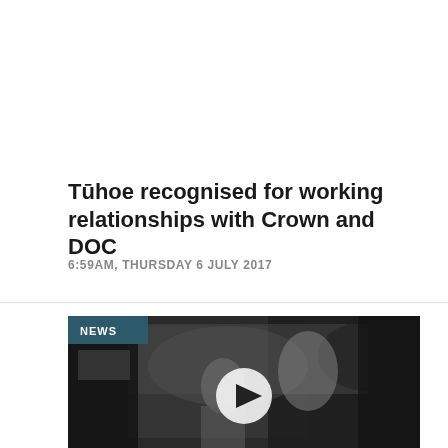Tūhoe recognised for working relationships with Crown and DOC
6:59AM, THURSDAY 6 JULY 2017
[Figure (photo): Black and white news video thumbnail showing people in traditional Māori attire outdoors, with a NEWS badge in the top left corner and a play button in the center.]